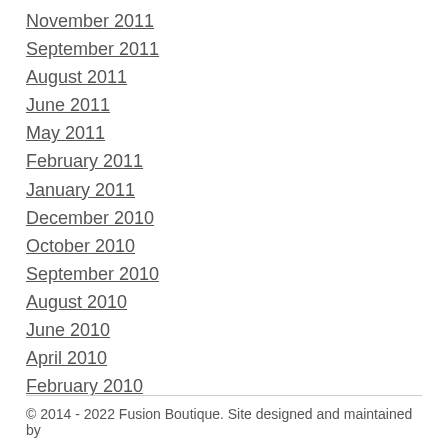November 2011
September 2011
August 2011
June 2011
May 2011
February 2011
January 2011
December 2010
October 2010
September 2010
August 2010
June 2010
April 2010
February 2010
© 2014 - 2022 Fusion Boutique. Site designed and maintained by